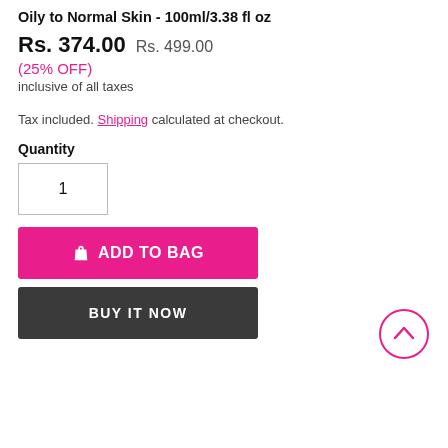Oily to Normal Skin - 100ml/3.38 fl oz
Rs. 374.00  Rs. 499.00
(25% OFF)
inclusive of all taxes
Tax included. Shipping calculated at checkout.
Quantity
1
ADD TO BAG
BUY IT NOW